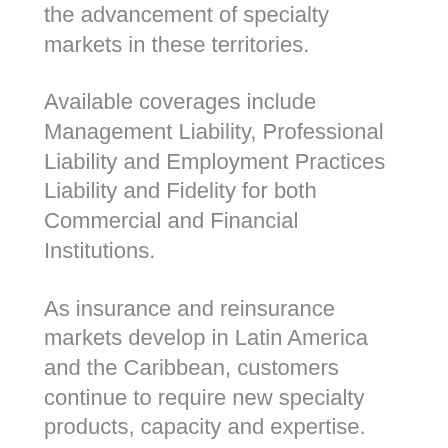the advancement of specialty markets in these territories.
Available coverages include Management Liability, Professional Liability and Employment Practices Liability and Fidelity for both Commercial and Financial Institutions.
As insurance and reinsurance markets develop in Latin America and the Caribbean, customers continue to require new specialty products, capacity and expertise. Businesses in this region have growing insurance needs for both their traditional exposures and specialty products that can transfer more sophisticated risks. Capital Bay's value proposition